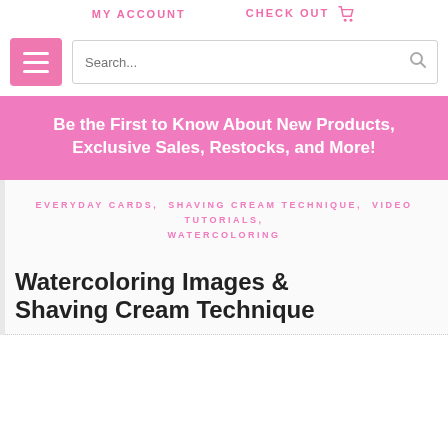MY ACCOUNT    CHECK OUT
[Figure (screenshot): Search bar with hamburger menu button on the left and a search input field with magnifying glass icon on the right]
Be the First to Know About New Products, Exclusive Sales, Restocks, and More!
EVERYDAY CARDS, SHAVING CREAM TECHNIQUE, VIDEO TUTORIALS, WATERCOLORING
Watercoloring Images & Shaving Cream Technique